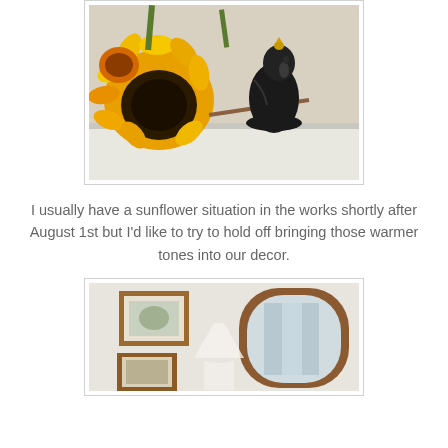[Figure (photo): Photo of a black ceramic bird figurine next to yellow and orange sunflowers on a white shelf, with a light beige wall in the background.]
I usually have a sunflower situation in the works shortly after August 1st but I'd like to try to hold off bringing those warmer tones into our decor.
[Figure (photo): Photo of a room interior with a wood-framed arched mirror, a framed picture on a white wall, and a white lamp base visible.]